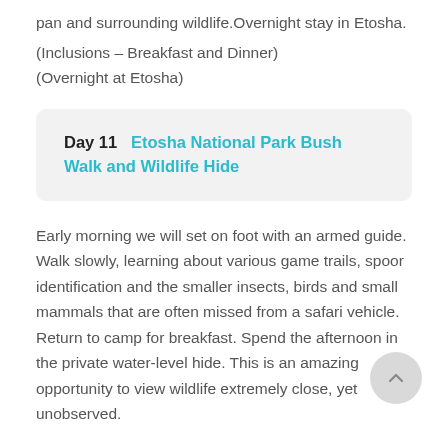pan and surrounding wildlife.Overnight stay in Etosha.
(Inclusions – Breakfast and Dinner)
(Overnight at Etosha)
Day 11   Etosha National Park Bush Walk and Wildlife Hide
Early morning we will set on foot with an armed guide. Walk slowly, learning about various game trails, spoor identification and the smaller insects, birds and small mammals that are often missed from a safari vehicle. Return to camp for breakfast. Spend the afternoon in the private water-level hide. This is an amazing opportunity to view wildlife extremely close, yet unobserved.